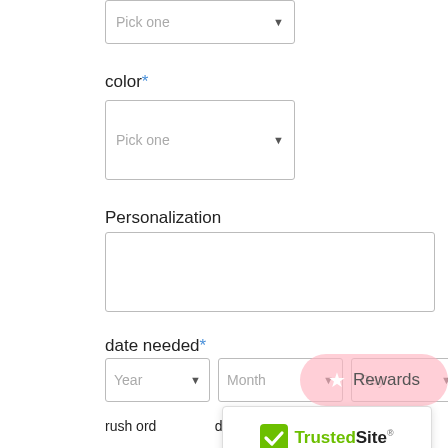[Figure (screenshot): Partial dropdown selector showing 'Pick one' with a down arrow, partially visible at top of page]
color *
[Figure (screenshot): Dropdown selector for color field with 'Pick one' placeholder and down arrow]
Personalization
[Figure (screenshot): Empty text input box for Personalization field]
date needed *
[Figure (screenshot): Three dropdown selectors for Year, Month, Day side by side]
[Figure (screenshot): Pink Rewards button with star icon on the right side]
rush ord... d by date is less than 3 weeks fr...
[Figure (logo): TrustedSite CERTIFIED SECURE badge with green checkmark logo]